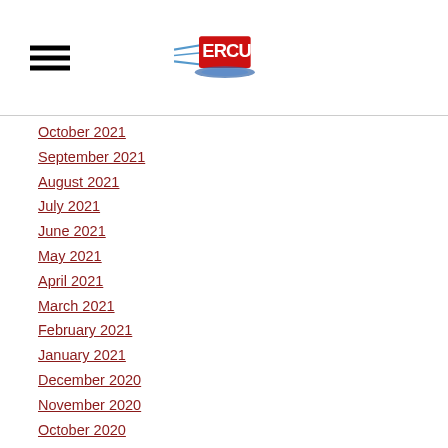ERCU logo and navigation menu icon
October 2021
September 2021
August 2021
July 2021
June 2021
May 2021
April 2021
March 2021
February 2021
January 2021
December 2020
November 2020
October 2020
August 2020
July 2020
June 2020
May 2020
March 2020